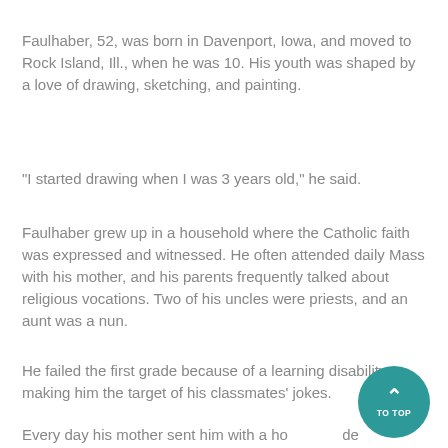Faulhaber, 52, was born in Davenport, Iowa, and moved to Rock Island, Ill., when he was 10. His youth was shaped by a love of drawing, sketching, and painting.
"I started drawing when I was 3 years old," he said.
Faulhaber grew up in a household where the Catholic faith was expressed and witnessed. He often attended daily Mass with his mother, and his parents frequently talked about religious vocations. Two of his uncles were priests, and an aunt was a nun.
He failed the first grade because of a learning disability, making him the target of his classmates' jokes.
Every day his mother sent him with a ho de